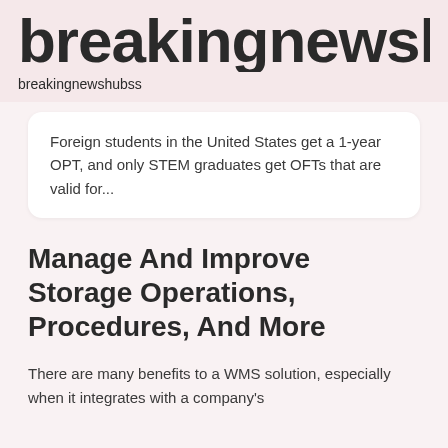breakingnewshu
breakingnewshubss
Foreign students in the United States get a 1-year OPT, and only STEM graduates get OFTs that are valid for...
Manage And Improve Storage Operations, Procedures, And More
There are many benefits to a WMS solution, especially when it integrates with a company's